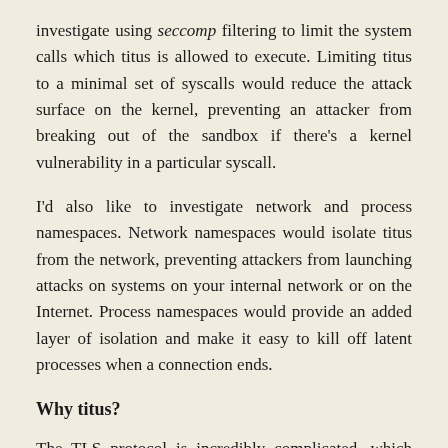investigate using seccomp filtering to limit the system calls which titus is allowed to execute. Limiting titus to a minimal set of syscalls would reduce the attack surface on the kernel, preventing an attacker from breaking out of the sandbox if there's a kernel vulnerability in a particular syscall.
I'd also like to investigate network and process namespaces. Network namespaces would isolate titus from the network, preventing attackers from launching attacks on systems on your internal network or on the Internet. Process namespaces would provide an added layer of isolation and make it easy to kill off latent processes when a connection ends.
Why titus?
The TLS protocol is incredibly complicated, which makes TLS implementations necessarily complex, which makes them inevitably prone to security vulnerabilities. If you're building a